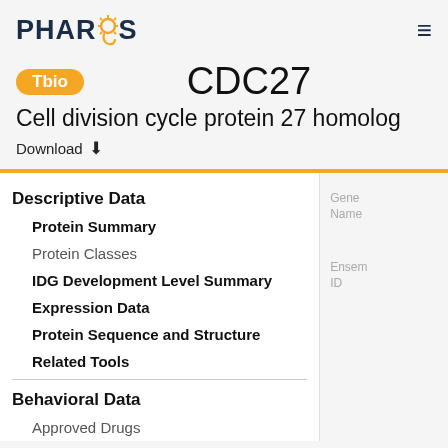PHAROS
CDC27
Cell division cycle protein 27 homolog
Download
Descriptive Data
Protein Summary
Protein Classes
IDG Development Level Summary
Expression Data
Protein Sequence and Structure
Related Tools
Behavioral Data
Approved Drugs
Gene Name
Ensembl ID